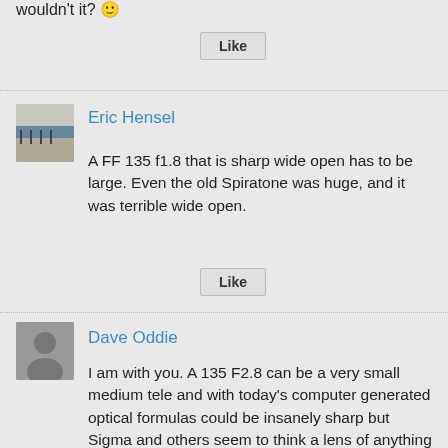wouldn't it? 🙂
Like
[Figure (photo): Avatar photo of Eric Hensel showing cyclists on a road]
Eric Hensel
A FF 135 f1.8 that is sharp wide open has to be large. Even the old Spiratone was huge, and it was terrible wide open.
Like
[Figure (photo): Default grey avatar icon of Dave Oddie]
Dave Oddie
I am with you. A 135 F2.8 can be a very small medium tele and with today's computer generated optical formulas could be insanely sharp but Sigma and others seem to think a lens of anything less and F2 isn't worth making.
If I were a Canon user I'd take their 35mm F2 over any of the 35mm F1.4 alternatives any day if the week. Some will no doubt say they need an F1.4 lens but it is only ONE STOP faster and